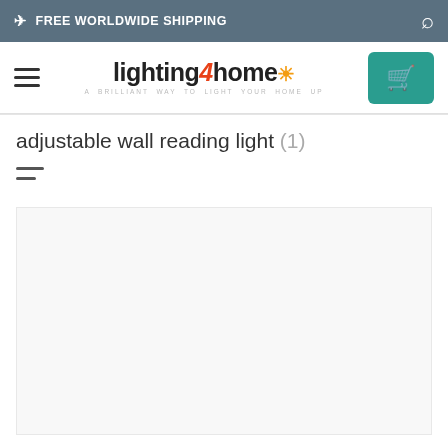✈ FREE WORLDWIDE SHIPPING
[Figure (logo): lighting4home logo with sun graphic and tagline 'A BRILLIANT WAY TO LIGHT YOUR HOME UP']
adjustable wall reading light (1)
[Figure (other): Filter/sort icon (three horizontal lines of decreasing width)]
[Figure (other): Product listing area (empty white/light grey space)]